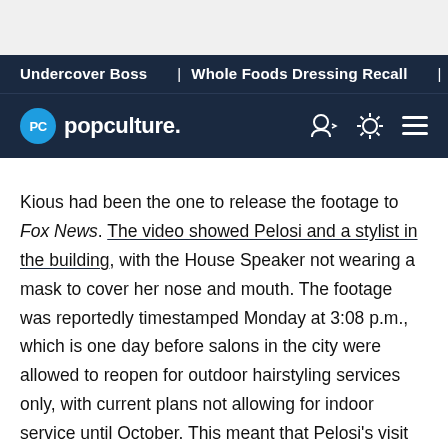Undercover Boss | Whole Foods Dressing Recall | Anastasia
[Figure (logo): Popculture.com logo with blue circle PC icon and navigation icons]
Kious had been the one to release the footage to Fox News. The video showed Pelosi and a stylist in the building, with the House Speaker not wearing a mask to cover her nose and mouth. The footage was reportedly timestamped Monday at 3:08 p.m., which is one day before salons in the city were allowed to reopen for outdoor hairstyling services only, with current plans not allowing for indoor service until October. This meant that Pelosi's visit